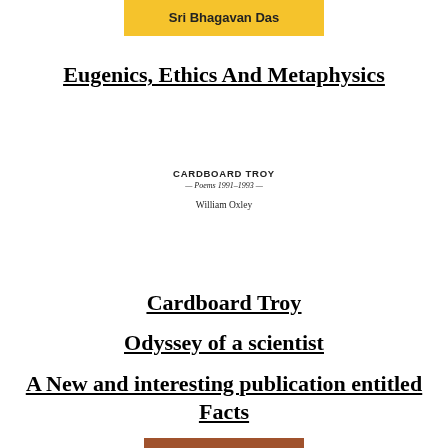Sri Bhagavan Das
Eugenics, Ethics And Metaphysics
[Figure (illustration): Small book cover thumbnail showing 'CARDBOARD TROY — Poems 1991-1993 —' and 'William Oxley']
Cardboard Troy
Odyssey of a scientist
A New and interesting publication entitled Facts
[Figure (other): Brown/orange horizontal bar at the bottom of the page]